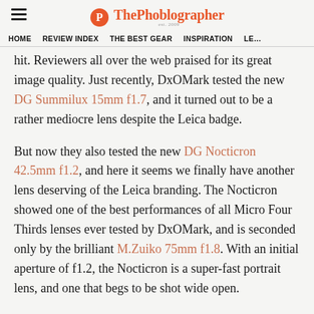ThePhoblographer — est. 2009
HOME  REVIEW INDEX  THE BEST GEAR  INSPIRATION  LE…
hit. Reviewers all over the web praised for its great image quality. Just recently, DxOMark tested the new DG Summilux 15mm f1.7, and it turned out to be a rather mediocre lens despite the Leica badge.
But now they also tested the new DG Nocticron 42.5mm f1.2, and here it seems we finally have another lens deserving of the Leica branding. The Nocticron showed one of the best performances of all Micro Four Thirds lenses ever tested by DxOMark, and is seconded only by the brilliant M.Zuiko 75mm f1.8. With an initial aperture of f1.2, the Nocticron is a super-fast portrait lens, and one that begs to be shot wide open.